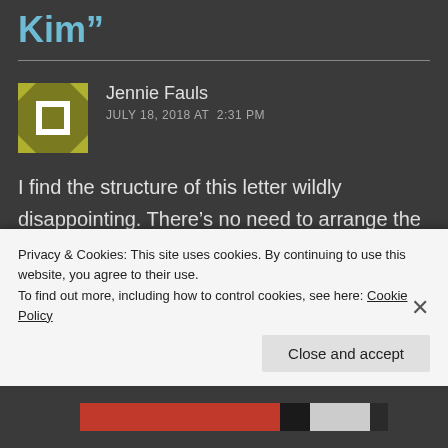Kim”
Jennie Fauls
JULY 18, 2018 AT 2:31 PM
I find the structure of this letter wildly disappointing. There’s no need to arrange the outcomes in sequence. Why not begin with the issues most pressing to a
Privacy & Cookies: This site uses cookies. By continuing to use this website, you agree to their use.
To find out more, including how to control cookies, see here: Cookie Policy
Close and accept